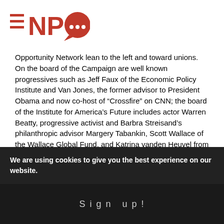NPQ logo
Opportunity Network lean to the left and toward unions. On the board of the Campaign are well known progressives such as Jeff Faux of the Economic Policy Institute and Van Jones, the former advisor to President Obama and now co-host of “Crossfire” on CNN; the board of the Institute for America’s Future includes actor Warren Beatty, progressive activist and Barbra Streisand’s philanthropic advisor Margery Tabankin, Scott Wallace of the Wallace Global Fund, and Katrina vanden Heuvel from The Nation.

The left, however, is hardly unanimously against
We are using cookies to give you the best experience on our website.
Sign up!